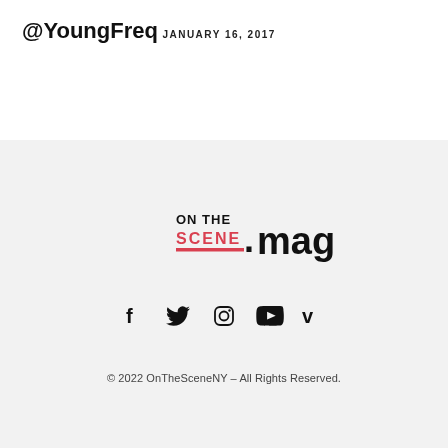@YoungFreq
JANUARY 16, 2017
[Figure (logo): On The Scene .mag logo with red SCENE text and black ON THE and .mag text, with red underline]
© 2022 OnTheSceneNY – All Rights Reserved.